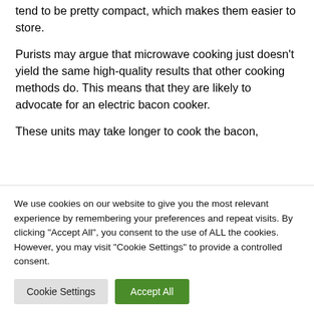tend to be pretty compact, which makes them easier to store.
Purists may argue that microwave cooking just doesn't yield the same high-quality results that other cooking methods do. This means that they are likely to advocate for an electric bacon cooker.
These units may take longer to cook the bacon,
We use cookies on our website to give you the most relevant experience by remembering your preferences and repeat visits. By clicking "Accept All", you consent to the use of ALL the cookies. However, you may visit "Cookie Settings" to provide a controlled consent.